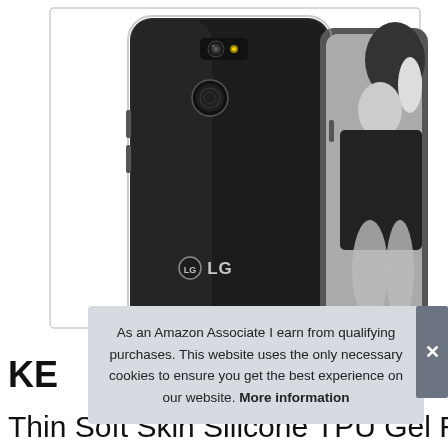[Figure (photo): Product photo of an LG smartphone with a clear/transparent case, shown from the back with the LG logo visible. In the background, a black-and-white fashion photo of a woman is visible through the transparent phone screen area.]
As an Amazon Associate I earn from qualifying purchases. This website uses the only necessary cookies to ensure you get the best experience on our website. More information
KE
Thin Soft Skin Silicone TPU Gel Rubber